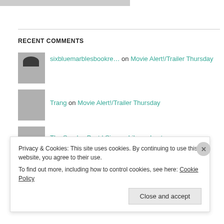[Figure (photo): Partial top image strip, cropped]
RECENT COMMENTS
sixbluemarblesboookre... on Movie Alert!/Trailer Thursday
Trang on Movie Alert!/Trailer Thursday
The Sunday Post | Si... on Library Loot
The Sunday Post | Si... on Top Ten Tuesday
Privacy & Cookies: This site uses cookies. By continuing to use this website, you agree to their use. To find out more, including how to control cookies, see here: Cookie Policy
Close and accept